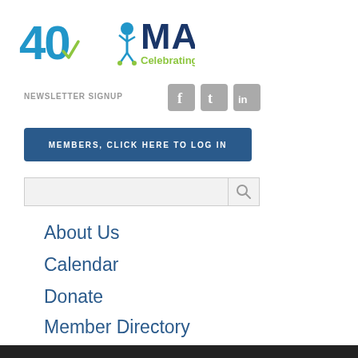[Figure (logo): MACDC 40 years logo with blue 40 and person figure, MACDC text in dark blue, 'Celebrating 40 years' in green]
NEWSLETTER SIGNUP
[Figure (infographic): Social media icons: Facebook (f), Tumblr (t), LinkedIn (in) in grey rounded squares]
MEMBERS, CLICK HERE TO LOG IN
About Us
Calendar
Donate
Member Directory
News
[Figure (photo): Bumper stickers photo showing 'LOVE FOR ALL, HATRED FOR NONE', 'ATTENTION' sticker, 'I VOTED' sticker, no smoking sign]
[Figure (infographic): Row of sharing icons at bottom: print, email, Twitter, Facebook, share]